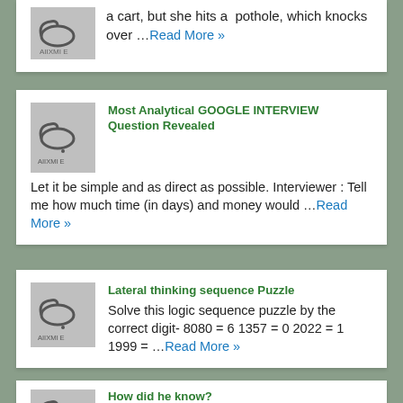a cart, but she hits a pothole, which knocks over ...Read More »
Most Analytical GOOGLE INTERVIEW Question Revealed
Let it be simple and as direct as possible. Interviewer : Tell me how much time (in days) and money would ...Read More »
Lateral thinking sequence Puzzle
Solve this logic sequence puzzle by the correct digit- 8080 = 6 1357 = 0 2022 = 1 1999 = ...Read More »
How did he know?
A man leaves his house in the morning to go to office and kisses his wife. In the evening on... Read More »